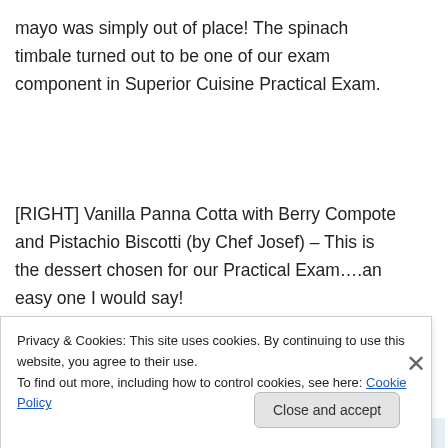mayo was simply out of place! The spinach timbale turned out to be one of our exam component in Superior Cuisine Practical Exam.
[RIGHT] Vanilla Panna Cotta with Berry Compote and Pistachio Biscotti (by Chef Josef) – This is the dessert chosen for our Practical Exam….an easy one I would say!
[Figure (screenshot): WordPress app advertisement showing text 'habit. Post on the go.' with GET THE APP call to action and WordPress logo icon]
Privacy & Cookies: This site uses cookies. By continuing to use this website, you agree to their use.
To find out more, including how to control cookies, see here: Cookie Policy